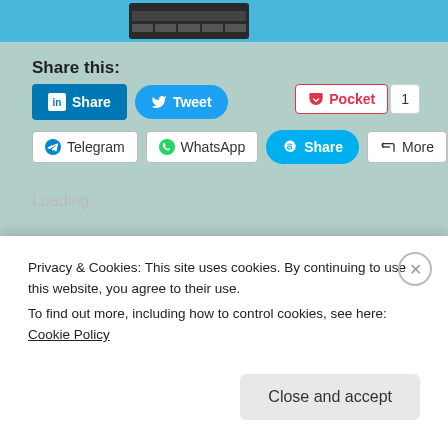[Figure (screenshot): Top image bar with blue background and dark device screenshot]
Share this:
Share  Tweet  Pocket 1  Telegram  WhatsApp  Share  More
Loading...
Privacy & Cookies: This site uses cookies. By continuing to use this website, you agree to their use.
To find out more, including how to control cookies, see here: Cookie Policy
Close and accept